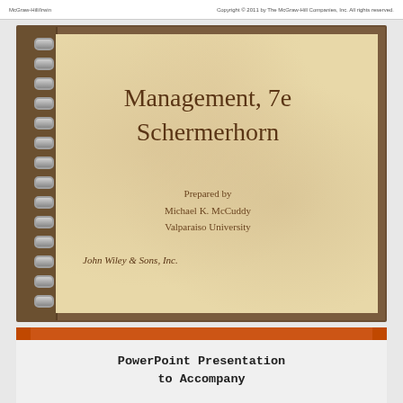McGraw-Hill/Irwin | Copyright © 2011 by The McGraw-Hill Companies, Inc. All rights reserved.
[Figure (illustration): Spiral-bound notebook cover with parchment texture showing the book title 'Management, 7e Schermerhorn', prepared by Michael K. McCuddy, Valparaiso University, published by John Wiley & Sons, Inc.]
Management, 7e
Schermerhorn
Prepared by
Michael K. McCuddy
Valparaiso University
John Wiley & Sons, Inc.
PowerPoint Presentation
to Accompany